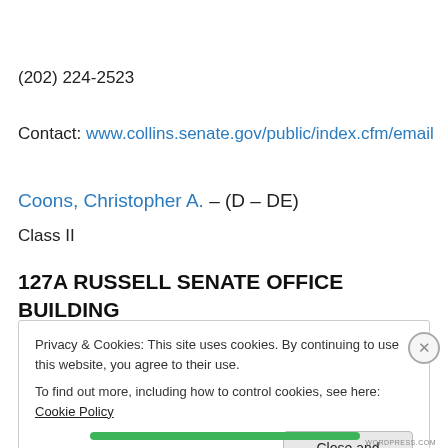(202) 224-2523
Contact: www.collins.senate.gov/public/index.cfm/email
Coons, Christopher A. – (D – DE)
Class II
127A RUSSELL SENATE OFFICE BUILDING
WASHINGTON DC 20510
Privacy & Cookies: This site uses cookies. By continuing to use this website, you agree to their use.
To find out more, including how to control cookies, see here: Cookie Policy
Close and accept